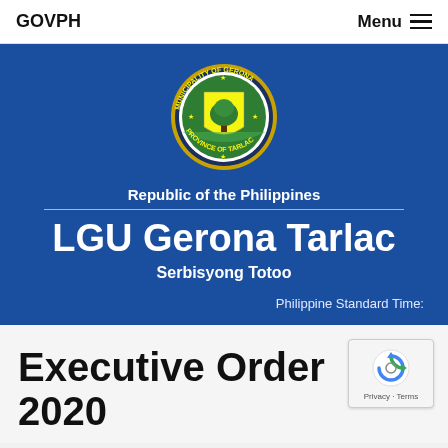GOVPH   Menu
[Figure (logo): Municipality of Gerona, Province of Tarlac official seal - circular emblem with gold border, green tree at center on shield background, stars around the border]
Republic of the Philippines
LGU Gerona Tarlac
Serbisyong Totoo
Philippine Standard Time:
Executive Order 2020